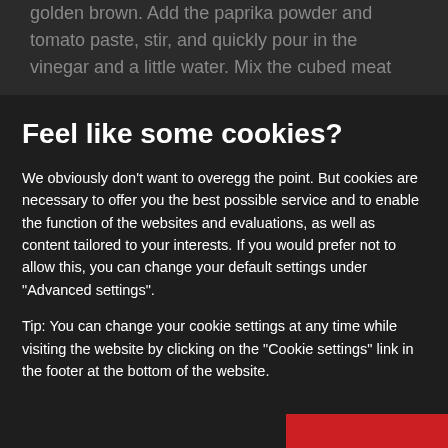golden brown. Add the paprika powder and tomato paste, stir, and quickly pour in the vinegar and a little water. Mix the cubed meat
Feel like some cookies?
We obviously don't want to overegg the point. But cookies are necessary to offer you the best possible service and to enable the function of the websites and evaluations, as well as content tailored to your interests. If you would prefer not to allow this, you can change your default settings under "Advanced settings".
Tip: You can change your cookie settings at any time while visiting the website by clicking on the "Cookie settings" link in the footer at the bottom of the website.